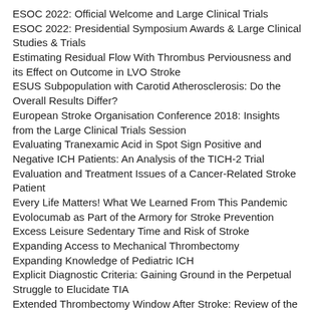ESOC 2022: Official Welcome and Large Clinical Trials
ESOC 2022: Presidential Symposium Awards & Large Clinical Studies & Trials
Estimating Residual Flow With Thrombus Perviousness and its Effect on Outcome in LVO Stroke
ESUS Subpopulation with Carotid Atherosclerosis: Do the Overall Results Differ?
European Stroke Organisation Conference 2018: Insights from the Large Clinical Trials Session
Evaluating Tranexamic Acid in Spot Sign Positive and Negative ICH Patients: An Analysis of the TICH-2 Trial
Evaluation and Treatment Issues of a Cancer-Related Stroke Patient
Every Life Matters! What We Learned From This Pandemic
Evolocumab as Part of the Armory for Stroke Prevention
Excess Leisure Sedentary Time and Risk of Stroke
Expanding Access to Mechanical Thrombectomy
Expanding Knowledge of Pediatric ICH
Explicit Diagnostic Criteria: Gaining Ground in the Perpetual Struggle to Elucidate TIA
Extended Thrombectomy Window After Stroke: Review of the DAWN trial
Extending Endovascular Therapy Treatment Time: Time to Face the Unmet Needs in Acute Stroke Care